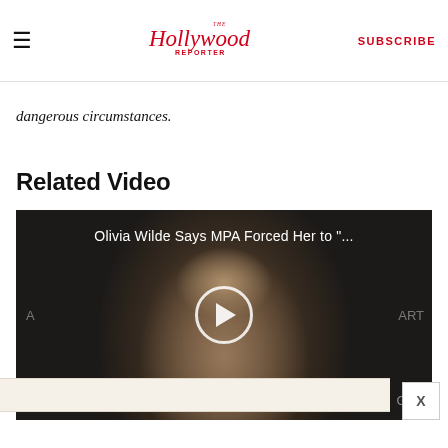The Hollywood Reporter — SUBSCRIBE
dangerous circumstances.
Related Video
[Figure (screenshot): Video thumbnail showing Olivia Wilde against a dark background with play button overlay. Title reads: Olivia Wilde Says MPA Forced Her to "..." Watermarks: A, LM on left; ART, GU on right.]
X (close button for ad bar)